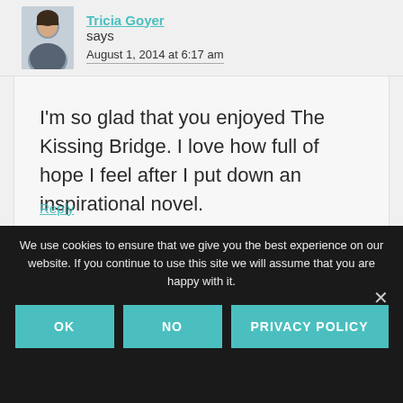Tricia Goyer says
August 1, 2014 at 6:17 am
I’m so glad that you enjoyed The Kissing Bridge. I love how full of hope I feel after I put down an inspirational novel.
Reply
We use cookies to ensure that we give you the best experience on our website. If you continue to use this site we will assume that you are happy with it.
OK
NO
PRIVACY POLICY